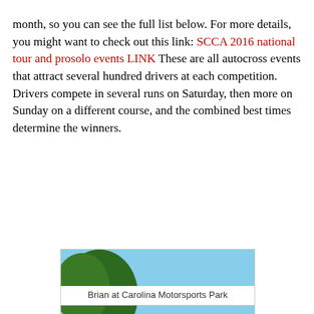month, so you can see the full list below. For more details, you might want to check out this link: SCCA 2016 national tour and prosolo events LINK  These are all autocross events that attract several hundred drivers at each competition. Drivers compete in several runs on Saturday, then more on Sunday on a different course, and the combined best times determine the winners.
[Figure (photo): Man standing in front of a red Mazda Miata sports car at Carolina Motorsports Park. There is a large tree behind him, and a blue car visible to the right. He is wearing a red cap, sunglasses, and a gray t-shirt with jeans.]
Brian at Carolina Motorsports Park